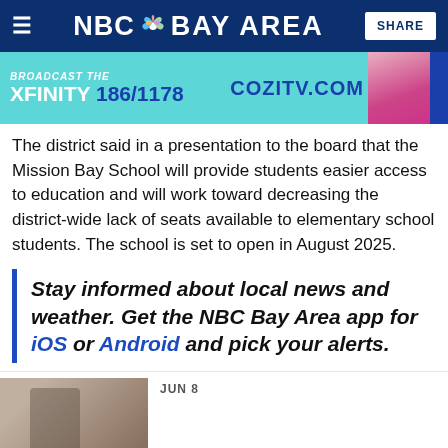NBC Bay Area — SHARE
[Figure (photo): Advertisement banner for Cozi TV showing XFINITY 186/1178 and cozitv.com on a teal background with a person in pink/red clothing on the right]
The district said in a presentation to the board that the Mission Bay School will provide students easier access to education and will work toward decreasing the district-wide lack of seats available to elementary school students. The school is set to open in August 2025.
Stay informed about local news and weather. Get the NBC Bay Area app for iOS or Android and pick your alerts.
[Figure (photo): Thumbnail image of a person outdoors with date label JUN 8]